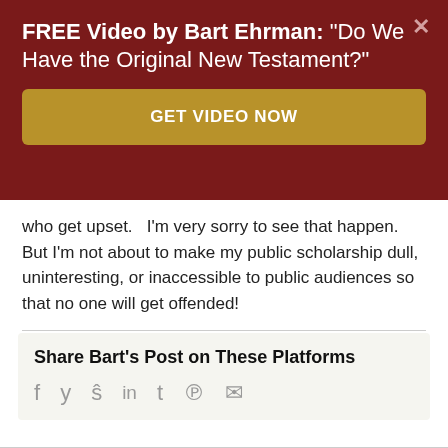FREE Video by Bart Ehrman: "Do We Have the Original New Testament?"
GET VIDEO NOW
who get upset.   I'm very sorry to see that happen.  But I'm not about to make my public scholarship dull, uninteresting, or inaccessible to public audiences so that no one will get offended!
April 18th, 2015  |  Book Discussions, Reflections and Ruminations
Share Bart's Post on These Platforms
f  y  ⚙  in  t  ℗  ✉